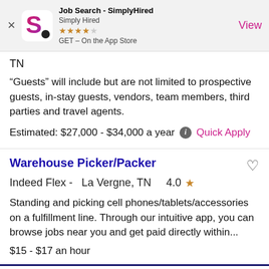[Figure (screenshot): App Store banner for Job Search - SimplyHired app showing logo, 4-star rating, GET button and View link]
TN
“Guests” will include but are not limited to prospective guests, in-stay guests, vendors, team members, third parties and travel agents.
Estimated: $27,000 - $34,000 a year   Quick Apply
Warehouse Picker/Packer
Indeed Flex -   La Vergne, TN     4.0 ★
Standing and picking cell phones/tablets/accessories on a fulfillment line. Through our intuitive app, you can browse jobs near you and get paid directly within...
$15 - $17 an hour
I want to receive the latest job alert for jobs